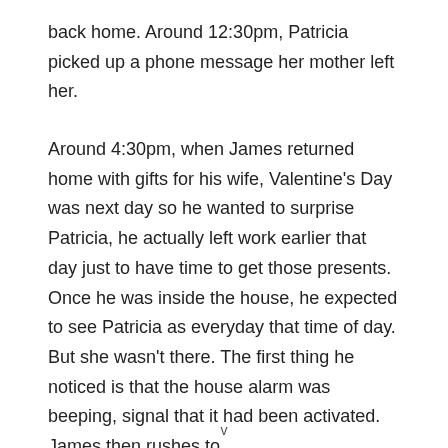back home. Around 12:30pm, Patricia picked up a phone message her mother left her.
Around 4:30pm, when James returned home with gifts for his wife, Valentine's Day was next day so he wanted to surprise Patricia, he actually left work earlier that day just to have time to get those presents. Once he was inside the house, he expected to see Patricia as everyday that time of day. But she wasn't there. The first thing he noticed is that the house alarm was beeping, signal that it had been activated. James then rushes to
v